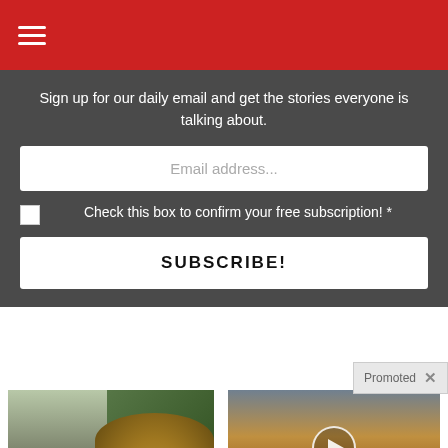Navigation menu (hamburger icon)
Sign up for our daily email and get the stories everyone is talking about.
Email address...
Check this box to confirm your free subscription! *
SUBSCRIBE!
Promoted
[Figure (photo): Composite image of a fit woman and a spoonful of spice powder]
A Teaspoon On An Empty Stomach Burns Fat Like Crazy!
99,980
[Figure (photo): Sunset sky with dramatic clouds and a video play button overlay]
Everyone Who Believes In God Should Watch This. It Will Blow Your Mind
64,399